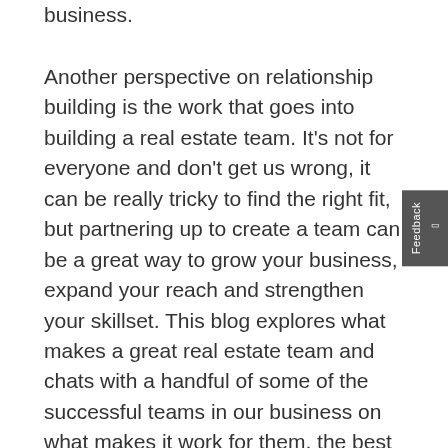business.
Another perspective on relationship building is the work that goes into building a real estate team. It's not for everyone and don't get us wrong, it can be really tricky to find the right fit, but partnering up to create a team can be a great way to grow your business, expand your reach and strengthen your skillset. This blog explores what makes a great real estate team and chats with a handful of some of the successful teams in our business on what makes it work for them, the best bits, the challenges and advice for anyone thinking about building a partnership.